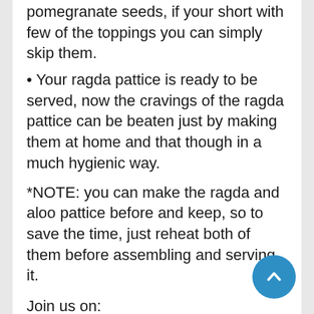pomegranate seeds, if your short with few of the toppings you can simply skip them.
• Your ragda pattice is ready to be served, now the cravings of the ragda pattice can be beaten just by making them at home and that though in a much hygienic way.
*NOTE: you can make the ragda and aloo pattice before and keep, so to save the time, just reheat both of them before assembling and serving it.
Join us on: